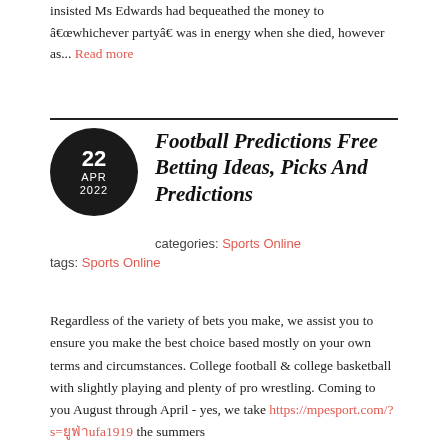insisted Ms Edwards had bequeathed the money to âwhichever partyâ was in energy when she died, however as... Read more
Football Predictions Free Betting Ideas, Picks And Predictions
categories: Sports Online
tags: Sports Online
Regardless of the variety of bets you make, we assist you to ensure you make the best choice based mostly on your own terms and circumstances. College football & college basketball with slightly playing and plenty of pro wrestling. Coming to you August through April - yes, we take https://mpesport.com/?s=ยูฟ่าufa1919 the summers